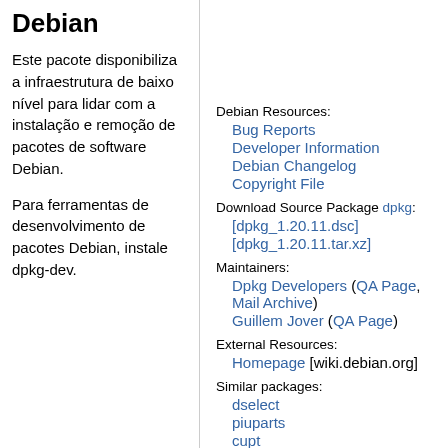Debian
Este pacote disponibiliza a infraestrutura de baixo nível para lidar com a instalação e remoção de pacotes de software Debian.
Para ferramentas de desenvolvimento de pacotes Debian, instale dpkg-dev.
Debian Resources:
Bug Reports
Developer Information
Debian Changelog
Copyright File
Download Source Package dpkg:
[dpkg_1.20.11.dsc]
[dpkg_1.20.11.tar.xz]
Maintainers:
Dpkg Developers (QA Page, Mail Archive)
Guillem Jover (QA Page)
External Resources:
Homepage [wiki.debian.org]
Similar packages:
dselect
piuparts
cupt
libzypp-bin
gnome-packagekit